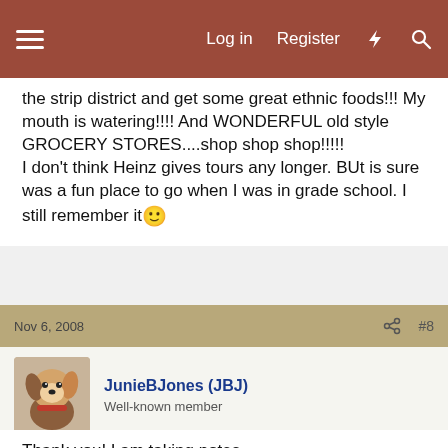Log in  Register
the strip district and get some great ethnic foods!!! My mouth is watering!!!! And WONDERFUL old style GROCERY STORES....shop shop shop!!!!! I don't think Heinz gives tours any longer. BUt is sure was a fun place to go when I was in grade school. I still remember it 🙂
Nov 6, 2008  #8
JunieBJones (JBJ)
Well-known member
Thank you! I am taking notes.
Re Food, is there a food specific to Pittsburgh? Something they are known for?
The Zoo and aviary look pretty cool. Going to Mt Washington take the incline and views, looks like a winner too and the Strip for some ethinic mutlicultural food and dancing. Come visit More and And...